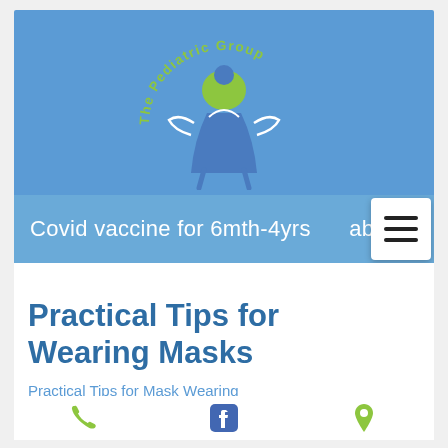[Figure (logo): The Pediatric Group logo — a stylized figure of a person (blue and green) with circular text reading 'The Pediatric Group' on a blue banner background]
Covid vaccine for 6mth-4yrs ab
Practical Tips for Wearing Masks
Practical Tips for Mask Wearing
[Figure (infographic): Footer icons: phone (green), Facebook (blue), location pin (green)]